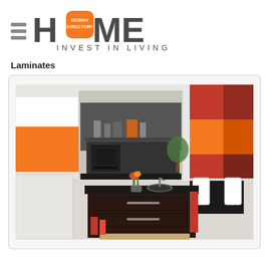[Figure (logo): Home Design Directory logo with hamburger menu icon, orange square behind letter O, tagline INVEST IN LIVING in gray]
Laminates
[Figure (photo): Modern kitchen with orange laminate cabinet panels, dark wood island with drawers, black countertop, stainless sink, and red/orange/dark red color-block wall panels in dining area]